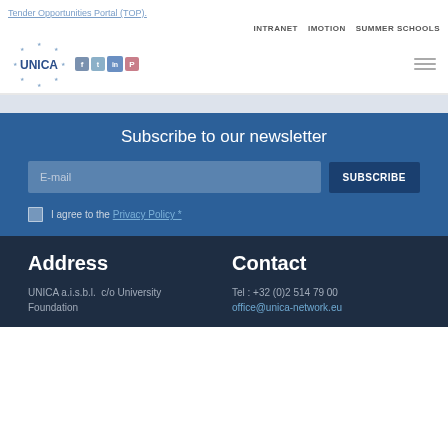Tender Opportunities Portal (TOP)
INTRANET  IMOTION  SUMMER SCHOOLS
[Figure (logo): UNICA network logo with EU stars circle, plus social media icons for Facebook, Twitter, LinkedIn, Pinterest]
Subscribe to our newsletter
E-mail
SUBSCRIBE
I agree to the Privacy Policy *
Address
UNICA a.i.s.b.l.  c/o University Foundation
Contact
Tel : +32 (0)2 514 79 00
office@unica-network.eu